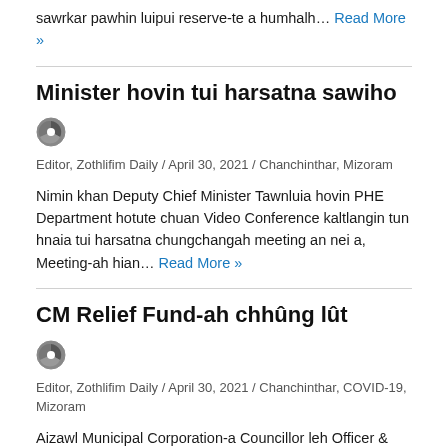sawrkar pawhin luipui reserve-te a humhalh… Read More »
Minister hovin tui harsatna sawiho
Editor, Zothlifim Daily / April 30, 2021 / Chanchinthar, Mizoram
Nimin khan Deputy Chief Minister Tawnluia hovin PHE Department hotute chuan Video Conference kaltlangin tun hnaia tui harsatna chungchangah meeting an nei a, Meeting-ah hian… Read More »
CM Relief Fund-ah chhûng lût
Editor, Zothlifim Daily / April 30, 2021 / Chanchinthar, COVID-19, Mizoram
Aizawl Municipal Corporation-a Councillor leh Officer & Staff-te